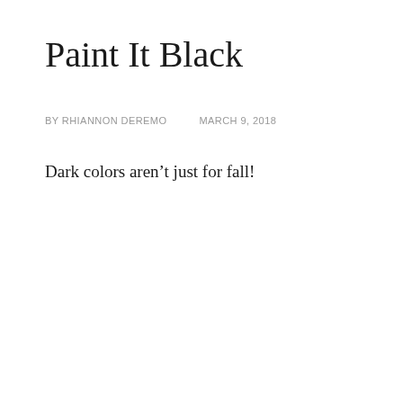Paint It Black
BY RHIANNON DEREMO    MARCH 9, 2018
Dark colors aren’t just for fall!